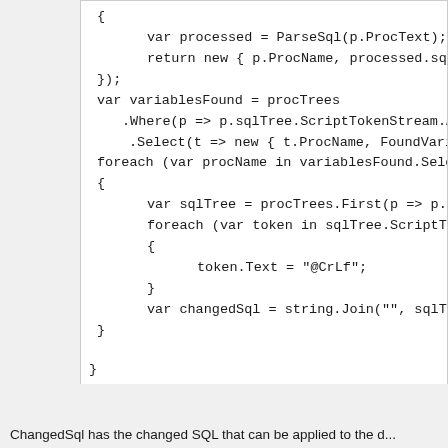[Figure (screenshot): Code snippet showing C# code with variable processing, LINQ queries, and foreach loops involving SQL tree operations]
ChangedSql has the changed SQL that can be applied to the d...